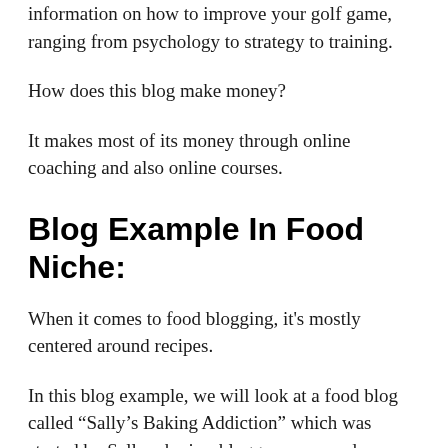information on how to improve your golf game, ranging from psychology to strategy to training.
How does this blog make money?
It makes most of its money through online coaching and also online courses.
Blog Example In Food Niche:
When it comes to food blogging, it's mostly centered around recipes.
In this blog example, we will look at a food blog called “Sally’s Baking Addiction” which was started by Sally who is a blogger, mom and